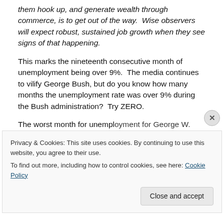them hook up, and generate wealth through commerce, is to get out of the way.  Wise observers will expect robust, sustained job growth when they see signs of that happening.
This marks the nineteenth consecutive month of unemployment being over 9%.  The media continues to vilify George Bush, but do you know how many months the unemployment rate was over 9% during the Bush administration?  Try ZERO.
The worst month for unemployment for George W. Bush
Privacy & Cookies: This site uses cookies. By continuing to use this website, you agree to their use.
To find out more, including how to control cookies, see here: Cookie Policy